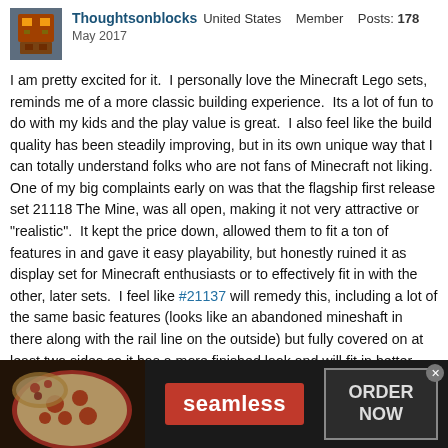Thoughtsonblocks United States Member Posts: 178 May 2017
I am pretty excited for it. I personally love the Minecraft Lego sets, reminds me of a more classic building experience. Its a lot of fun to do with my kids and the play value is great. I also feel like the build quality has been steadily improving, but in its own unique way that I can totally understand folks who are not fans of Minecraft not liking. One of my big complaints early on was that the flagship first release set 21118 The Mine, was all open, making it not very attractive or "realistic". It kept the price down, allowed them to fit a ton of features in and gave it easy playability, but honestly ruined it as display set for Minecraft enthusiasts or to effectively fit in with the other, later sets. I feel like #21137 will remedy this, including a lot of the same basic features (looks like an abandoned mineshaft in there along with the rail line on the outside) but fully covered on at least two sides so it has a more finished look and will fit in better. My only complaint with the newer sets has been the dramatic reduction in "mineable" 2x2 blocks with the single center stud tiles on top. I loved how some of the earlier sets had lots of these in many different types, not just ores, that allowed you to play at the mining and some
[Figure (screenshot): Seamless food delivery advertisement banner with pizza image on left, red Seamless logo in center, and ORDER NOW button on right]